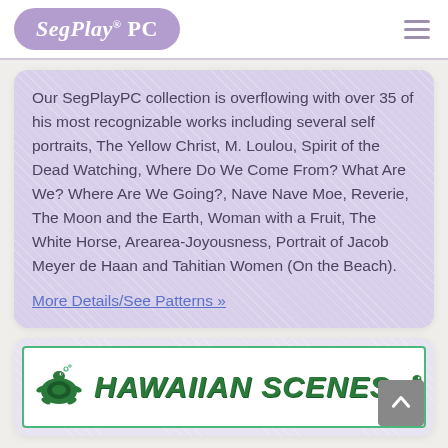SegPlay® PC
Our SegPlayPC collection is overflowing with over 35 of his most recognizable works including several self portraits, The Yellow Christ, M. Loulou, Spirit of the Dead Watching, Where Do We Come From? What Are We? Where Are We Going?, Nave Nave Moe, Reverie, The Moon and the Earth, Woman with a Fruit, The White Horse, Arearea-Joyousness, Portrait of Jacob Meyer de Haan and Tahitian Women (On the Beach).
More Details/See Patterns »
[Figure (logo): Hawaiian Scenes banner with sea turtle illustrations and green bold italic text reading 'Hawaiian Scenes']